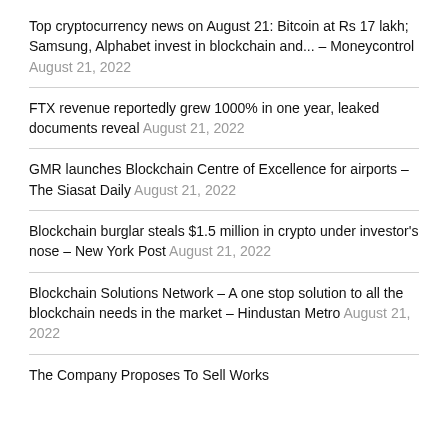Top cryptocurrency news on August 21: Bitcoin at Rs 17 lakh; Samsung, Alphabet invest in blockchain and... – Moneycontrol August 21, 2022
FTX revenue reportedly grew 1000% in one year, leaked documents reveal August 21, 2022
GMR launches Blockchain Centre of Excellence for airports – The Siasat Daily August 21, 2022
Blockchain burglar steals $1.5 million in crypto under investor's nose – New York Post August 21, 2022
Blockchain Solutions Network – A one stop solution to all the blockchain needs in the market – Hindustan Metro August 21, 2022
The Company Proposes To Sell Works